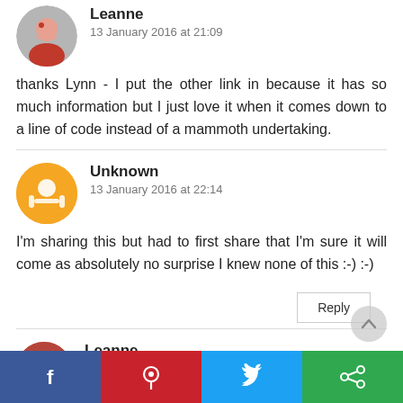Leanne
13 January 2016 at 21:09
thanks Lynn - I put the other link in because it has so much information but I just love it when it comes down to a line of code instead of a mammoth undertaking.
Unknown
13 January 2016 at 22:14
I'm sharing this but had to first share that I'm sure it will come as absolutely no surprise I knew none of this :-) :-)
Reply
Leanne